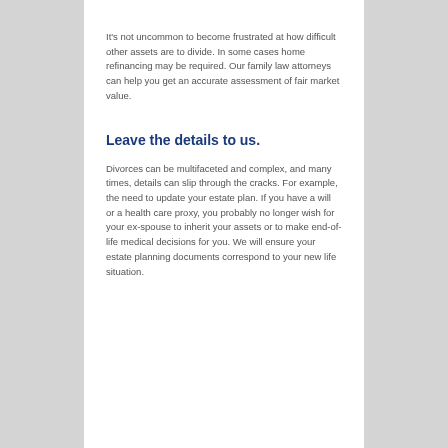It's not uncommon to become frustrated at how difficult other assets are to divide. In some cases home refinancing may be required. Our family law attorneys can help you get an accurate assessment of fair market value.
Leave the details to us.
Divorces can be multifaceted and complex, and many times, details can slip through the cracks. For example, the need to update your estate plan. If you have a will or a health care proxy, you probably no longer wish for your ex-spouse to inherit your assets or to make end-of-life medical decisions for you. We will ensure your estate planning documents correspond to your new life situation.